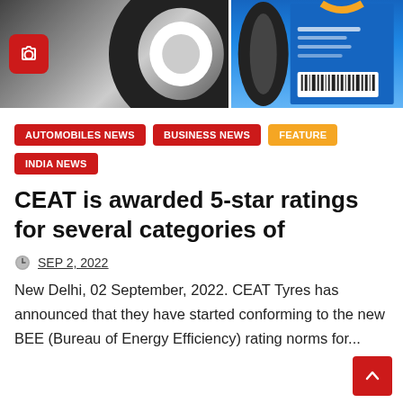[Figure (photo): Two product images side by side: left shows a close-up of a CEAT tyre in black and white with a red camera icon overlay; right shows a tyre product package with blue background and barcode.]
AUTOMOBILES NEWS
BUSINESS NEWS
FEATURE
INDIA NEWS
CEAT is awarded 5-star ratings for several categories of
SEP 2, 2022
New Delhi, 02 September, 2022. CEAT Tyres has announced that they have started conforming to the new BEE (Bureau of Energy Efficiency) rating norms for...